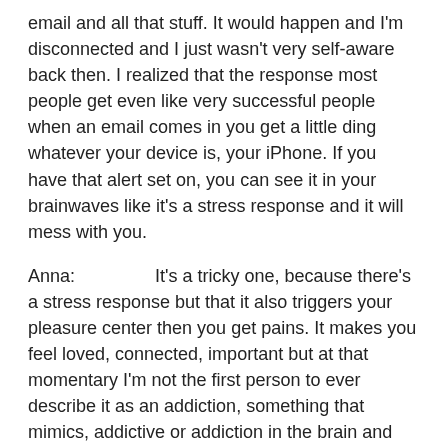email and all that stuff.  It would happen and I'm disconnected and I just wasn't very self-aware back then.  I realized that the response most people get even like very successful people when an email comes in you get a little ding whatever your device is, your iPhone.  If you have that alert set on, you can see it in your brainwaves like it's a stress response and it will mess with you.
Anna:          It's a tricky one, because there's a stress response but that it also triggers your pleasure center then you get pains.  It makes you feel loved, connected, important but at that momentary I'm not the first person to ever describe it as an addiction, something that mimics, addictive or addiction in the brain and that's essentially what's happening.